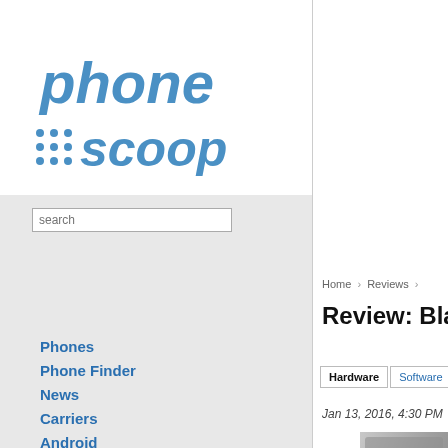[Figure (logo): Phone Scoop website logo with blue italic text]
search
Phones
Phone Finder
News
Carriers
Android
iOS
Glossary
Register
Log In
Advertising
Home › Reviews ›
Review: BlackBerry Priv
Hardware | Software | Wrap-Up | Comments
Jan 13, 2016, 4:30 PM  by Eric M. Zeman
[Figure (photo): Close-up photo of a BlackBerry Priv smartphone showing its physical keyboard and screen edge]